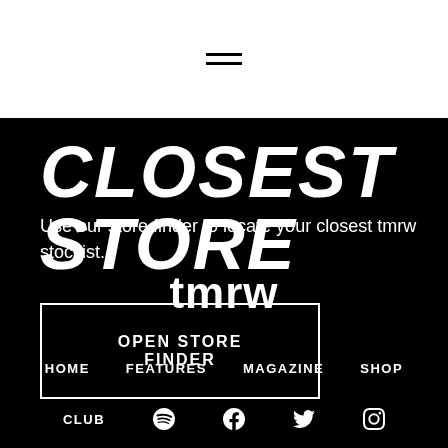[Figure (other): Hamburger menu icon with two horizontal lines]
CLOSEST STORE
Use our store finder to locate your closest tmrw stockist.
OPEN STORE FINDER
tmrw
HOME   FEATURES   MAGAZINE   SHOP
CLUB